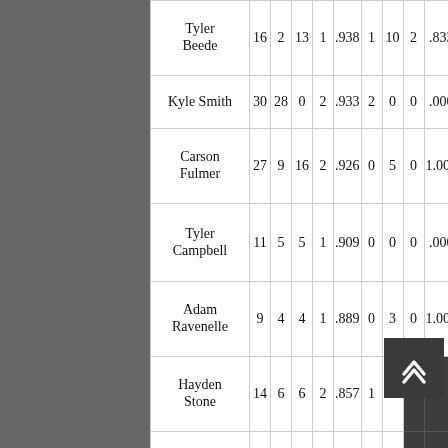| Player | G | GS | W | L | Pct | SV | IP | ER | ERA |
| --- | --- | --- | --- | --- | --- | --- | --- | --- | --- |
| Tyler Beede | 16 | 2 | 13 | 1 | .938 | 1 | 10 | 2 | .833 |
| Kyle Smith | 30 | 28 | 0 | 2 | .933 | 2 | 0 | 0 | .000 |
| Carson Fulmer | 27 | 9 | 16 | 2 | .926 | 0 | 5 | 0 | 1.000 |
| Tyler Campbell | 11 | 5 | 5 | 1 | .909 | 0 | 0 | 0 | .000 |
| Adam Ravenelle | 9 | 4 | 4 | 1 | .889 | 0 | 3 | 0 | 1.000 |
| Hayden Stone | 14 | 6 | 6 | 2 | .857 | 1 | 3 |  |  |
| John Kilichowski | 7 | 2 | 4 | 1 | .857 | 0 | 3 | 1 | .750 |